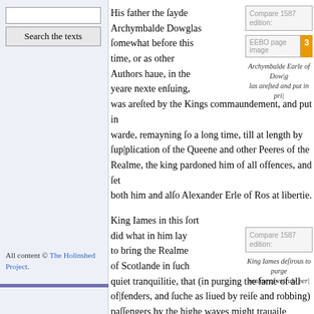Search the texts (input field)
All content © The Holinshed Project.
His father the ſayde Archymbalde Dowglas ſomewhat before this time, or as other Authors haue, in the yeare nexte enſuing, was areſted by the Kings commaundement, and put in warde, remayning ſo a long time, till at length by ſup|plication of the Queene and other Peeres of the Realme, the king pardoned him of all offences, and ſet both him and alſo Alexander Erle of Ros at libertie.
Compare 1587 edition:
EEBO page image 3
Archymbalde Earle of Dowg|las areſted and put in pri|
King Iames in this ſort did what in him lay to bring the Realme of Scotlande in ſuch quiet tranquilitie, that (in purging the ſame of all of|fenders, and ſuche as liued by reiſe and robbing) paſſengers by the highe wayes might trauaile without dread of anye euill diſpoſed perſons to moleſt them.
Compare 1587 edition:
King Iames deſirous to purge the realme of vn|ruly per|